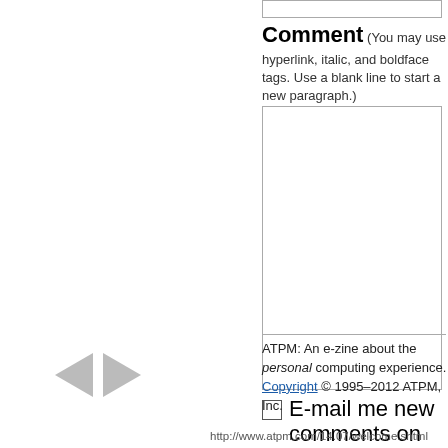Comment (You may use hyperlink, italic, and boldface tags. Use a blank line to start a new paragraph.)
E-mail me new comments on this article
Preview Comment
[Figure (other): Back and forward navigation arrows]
ATPM: An e-zine about the personal computing experience. Copyright © 1995–2012 ATPM, Inc.
http://www.atpm.com/14.07/welcome.shtml